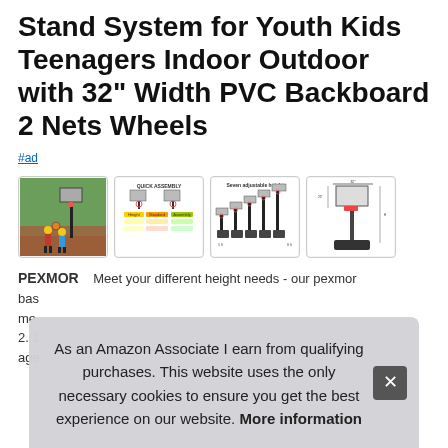Stand System for Youth Kids Teenagers Indoor Outdoor with 32" Width PVC Backboard 2 Nets Wheels
#ad
[Figure (photo): Four thumbnail images of a basketball hoop stand system: 1) outdoor photo with kids, 2) quick assembly info graphic, 3) seven adjustable height settings diagram, 4) technical diagram with dimensions]
PEXMOR   Meet your different height needs - our pexmor basketball stand system... age
As an Amazon Associate I earn from qualifying purchases. This website uses the only necessary cookies to ensure you get the best experience on our website. More information